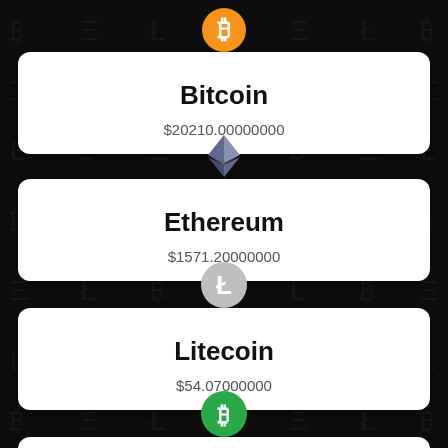[Figure (infographic): Bitcoin logo: orange circle with white B symbol]
Bitcoin
$20210.00000000
[Figure (infographic): Ethereum logo: blue/grey diamond/crystal shape]
Ethereum
$1571.20000000
[Figure (infographic): Litecoin logo: grey circle with white L symbol]
Litecoin
$54.07000000
[Figure (infographic): Bitcoin Cash logo: green circle with white B symbol, partially visible]